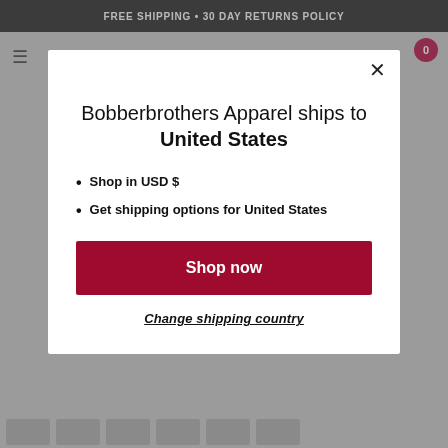FREE SHIPPING • 30 DAY RETURNS POLICY
Bobberbrothers Apparel ships to United States
Shop in USD $
Get shipping options for United States
Shop now
Change shipping country